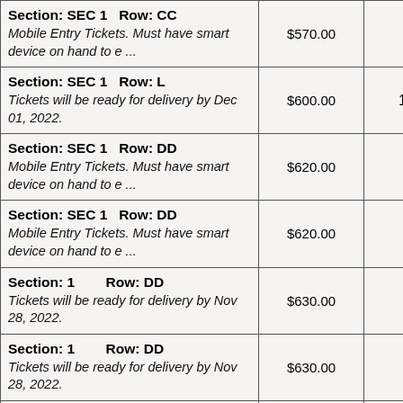| Section/Row Info | Price | Qty |
| --- | --- | --- |
| Section: SEC 1   Row: CC
Mobile Entry Tickets. Must have smart device on hand to e ... | $570.00 | 2 |
| Section: SEC 1   Row: L
Tickets will be ready for delivery by Dec 01, 2022. | $600.00 | 10 |
| Section: SEC 1   Row: DD
Mobile Entry Tickets. Must have smart device on hand to e ... | $620.00 | 2 |
| Section: SEC 1   Row: DD
Mobile Entry Tickets. Must have smart device on hand to e ... | $620.00 | 2 |
| Section: 1        Row: DD
Tickets will be ready for delivery by Nov 28, 2022. | $630.00 | 2 |
| Section: 1        Row: DD
Tickets will be ready for delivery by Nov 28, 2022. | $630.00 | 2 |
| Section: SEC 2   Row: BB
Mobile Entry Tickets. Must have smart device on hand to e ... | $700.00 | 2 |
| Section: 2        Row: BB | $740.00 | 2 |